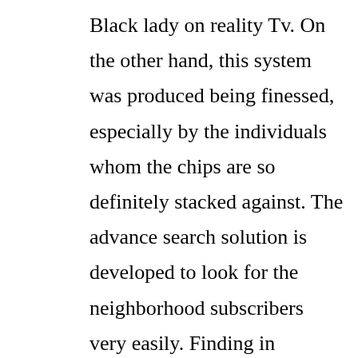Black lady on reality Tv. On the other hand, this system was produced being finessed, especially by the individuals whom the chips are so definitely stacked against. The advance search solution is developed to look for the neighborhood subscribers very easily. Finding in velocity with absolutely free members can be interactive thanks to the reside discussion button. Registration is no price in order to completely take pleasure in these